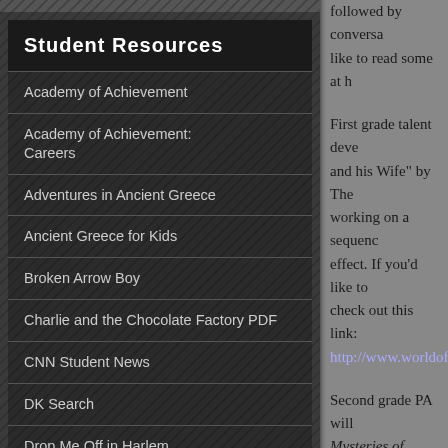Student Resources
Academy of Achievement
Academy of Achievement: Careers
Adventures in Ancient Greece
Ancient Greece for Kids
Broken Arrow Boy
Charlie and the Chocolate Factory PDF
CNN Student News
DK Search
Drop Me Off in Harlem
Harlem Renaissance Art
Microscope Photography
followed by conversa like to read some at h

First grade talent deve and his Wife" by The working on a sequenc effect. If you'd like to check out this link:
http://www.worldofta

Second grade PA will Mysteries of Harris B familiar with this auth has written and will b over the years. Our m the way a reader look of the week, the kids the images from the b